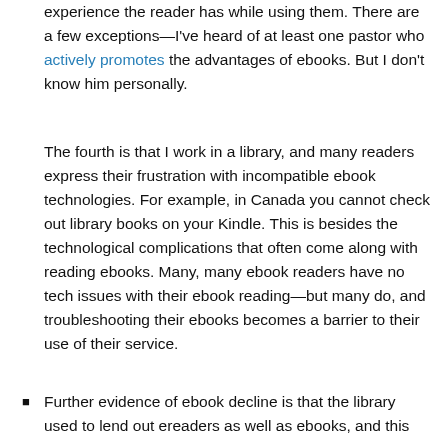experience the reader has while using them. There are a few exceptions—I've heard of at least one pastor who actively promotes the advantages of ebooks. But I don't know him personally.
The fourth is that I work in a library, and many readers express their frustration with incompatible ebook technologies. For example, in Canada you cannot check out library books on your Kindle. This is besides the technological complications that often come along with reading ebooks. Many, many ebook readers have no tech issues with their ebook reading—but many do, and troubleshooting their ebooks becomes a barrier to their use of their service.
Further evidence of ebook decline is that the library used to lend out ereaders as well as ebooks, and this